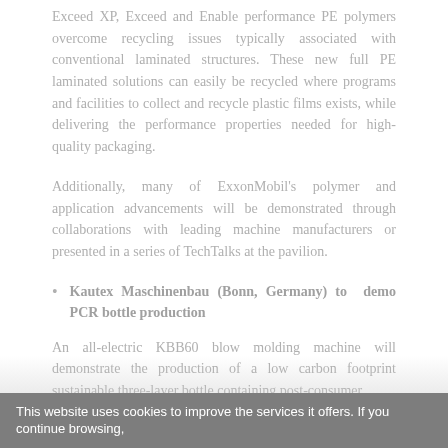Exceed XP, Exceed and Enable performance PE polymers overcome recycling issues typically associated with conventional laminated structures. These new full PE laminated solutions can easily be recycled where programs and facilities to collect and recycle plastic films exists, while delivering the performance properties needed for high-quality packaging.
Additionally, many of ExxonMobil's polymer and application advancements will be demonstrated through collaborations with leading machine manufacturers or presented in a series of TechTalks at the pavilion.
Kautex Maschinenbau (Bonn, Germany) to demo PCR bottle production
An all-electric KBB60 blow molding machine will demonstrate the production of a low carbon footprint sustainable three-layer bottle containing post-consumer
This website uses cookies to improve the services it offers. If you continue browsing,